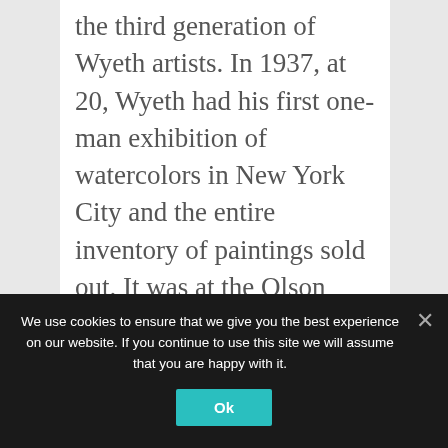the third generation of Wyeth artists. In 1937, at 20, Wyeth had his first one-man exhibition of watercolors in New York City and the entire inventory of paintings sold out. It was at the Olson farm in Cushing, Maine, that he painted “Christina’s World” (1948). Perhaps his most famous image, it depicts his neighbor, Christina Olson, sprawled on a dry field facing her
We use cookies to ensure that we give you the best experience on our website. If you continue to use this site we will assume that you are happy with it.